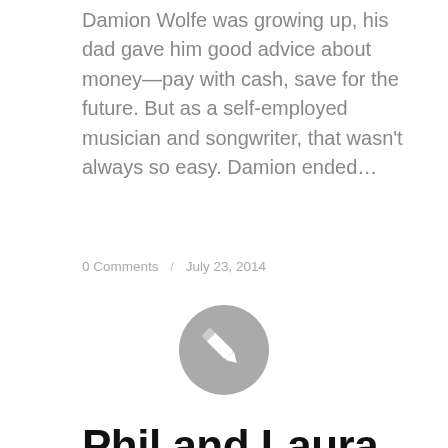Damion Wolfe was growing up, his dad gave him good advice about money—pay with cash, save for the future. But as a self-employed musician and songwriter, that wasn't always so easy. Damion ended…
0 Comments / July 23, 2014
[Figure (illustration): Gray circular icon with a white pencil/edit symbol in the center]
Phil and Laura—DMP
TESTIMONIALS
When They Came to Guidewell FinancialPhil and Laura began using credit when they were in college, back when credit card companies gave away T-shirts